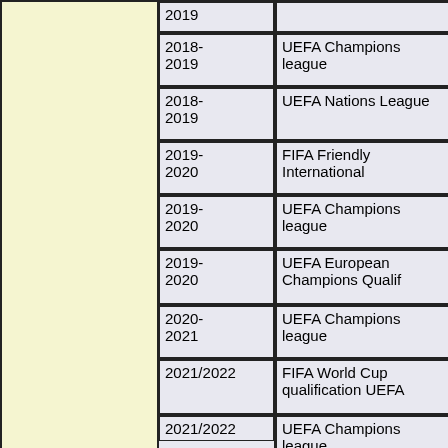|  | Year | Competition |
| --- | --- | --- |
|  | 2019 |  |
|  | 2018-2019 | UEFA Champions league |
|  | 2018-2019 | UEFA Nations League |
|  | 2019-2020 | FIFA Friendly International |
|  | 2019-2020 | UEFA Champions league |
|  | 2019-2020 | UEFA European Champions Qualif |
|  | 2020-2021 | UEFA Champions league |
|  | 2021/2022 | FIFA World Cup qualification UEFA |
|  | 2021/2022 | UEFA Champions league |
|  | 2021/2022 | UEFA Europa league |
| Match entraineur | Coupe Ap |  |
| Commentaire | Marco Reus (German pronunciation: ['m winger for German Bundesliga club Boru UEFA Euro 2012. R |  |